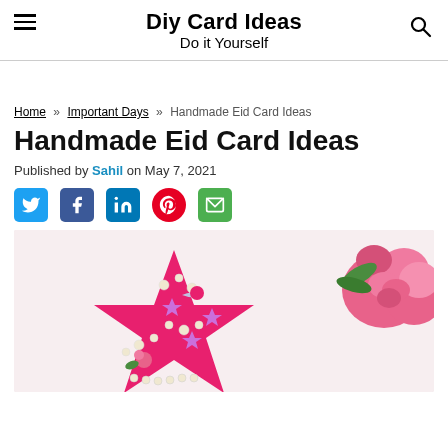Diy Card Ideas
Do it Yourself
Home » Important Days » Handmade Eid Card Ideas
Handmade Eid Card Ideas
Published by Sahil on May 7, 2021
[Figure (infographic): Social media share icons: Twitter (bird, blue), Facebook (f, dark blue), LinkedIn (in, blue), Pinterest (P, red), Email (envelope, green)]
[Figure (photo): A pink star-shaped handmade Eid card decorated with pearl beads, glitter star stickers, a crescent moon embellishment, and small roses, placed on a white surface next to pink roses.]